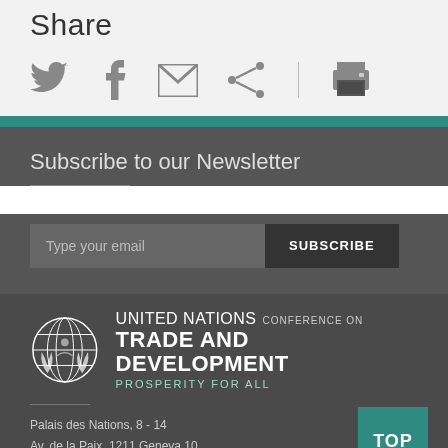Share
[Figure (infographic): Social share icons: Twitter bird, Facebook f, Email envelope, Share/network icon, vertical divider, Print icon]
Subscribe to our Newsletter
[Figure (other): Email subscription form with placeholder 'Type your email' and SUBSCRIBE button]
[Figure (logo): UNCTAD logo: United Nations Conference on Trade and Development, Prosperity for All]
Palais des Nations, 8 - 14
Av. de la Paix, 1211 Geneva 10
Switzerland